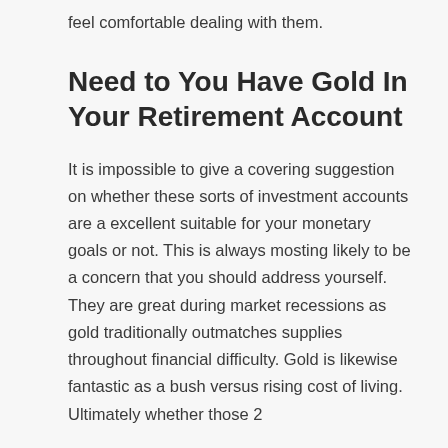feel comfortable dealing with them.
Need to You Have Gold In Your Retirement Account
It is impossible to give a covering suggestion on whether these sorts of investment accounts are a excellent suitable for your monetary goals or not. This is always mosting likely to be a concern that you should address yourself. They are great during market recessions as gold traditionally outmatches supplies throughout financial difficulty. Gold is likewise fantastic as a bush versus rising cost of living. Ultimately whether those 2